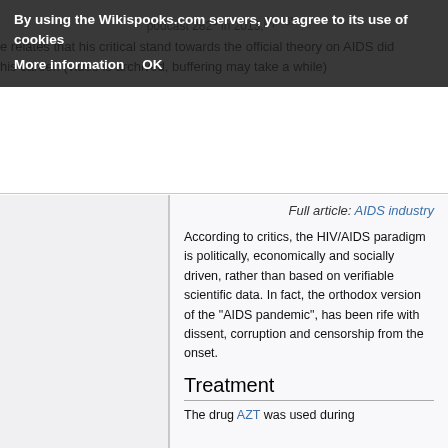e relates that his critical stand towards the official theory on AIDS did his career. (video is archived, buffering may take a while)
Full article: AIDS industry
According to critics, the HIV/AIDS paradigm is politically, economically and socially driven, rather than based on verifiable scientific data. In fact, the orthodox version of the "AIDS pandemic", has been rife with dissent, corruption and censorship from the onset.
Treatment
The drug AZT was used during